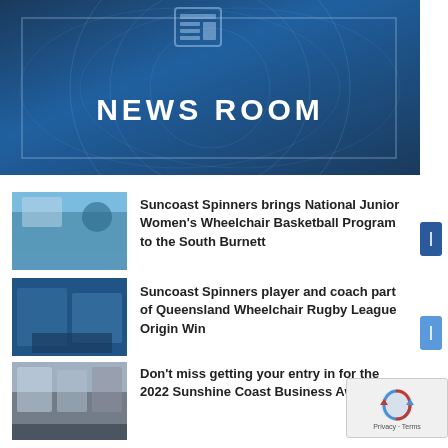[Figure (illustration): Blue dark gradient hero banner with NEWS ROOM title in white bold uppercase letters, newspaper icon at top, decorative border rectangle and globe circle overlays]
NEWS ROOM
[Figure (photo): Photo thumbnail of wheelchair basketball players in an indoor sports hall]
Suncoast Spinners brings National Junior Women's Wheelchair Basketball Program to the South Burnett
[Figure (photo): Photo thumbnail of wheelchair rugby league players in blue jerseys]
Suncoast Spinners player and coach part of Queensland Wheelchair Rugby League Origin Win
[Figure (photo): Photo thumbnail showing people in formal/event setting with Suncoast branding]
Don't miss getting your entry in for the 2022 Sunshine Coast Business Awards
[Figure (photo): Partial photo thumbnail at bottom of page]